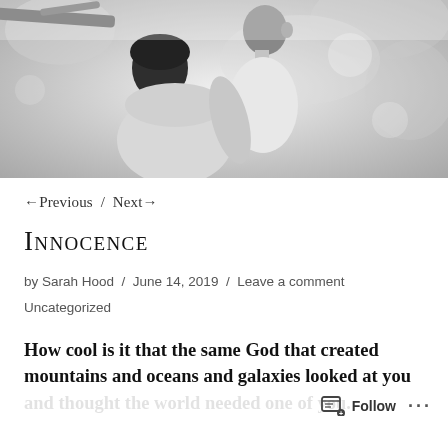[Figure (photo): Black and white photo of a woman with short dark hair holding a young child/toddler outdoors, with blurred tree branches in the background.]
← Previous / Next →
Innocence
by Sarah Hood / June 14, 2019 / Leave a comment Uncategorized
How cool is it that the same God that created mountains and oceans and galaxies looked at you and thought the world needed one of you. – Ali Wentworth